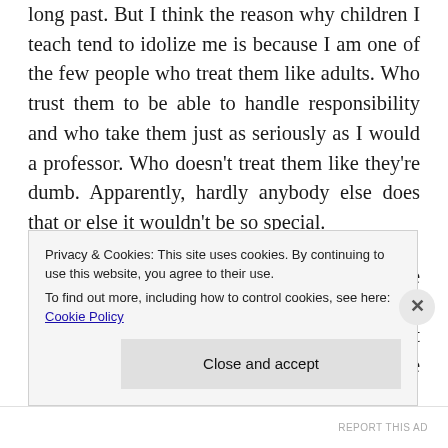long past. But I think the reason why children I teach tend to idolize me is because I am one of the few people who treat them like adults. Who trust them to be able to handle responsibility and who take them just as seriously as I would a professor. Who doesn't treat them like they're dumb. Apparently, hardly anybody else does that or else it wouldn't be so special.
But not treating a person as though they were dumb also means that I have expectations. I think them to be able to master a challenge but this also comes with the obligation to take the challenge. Adolescents tend
Privacy & Cookies: This site uses cookies. By continuing to use this website, you agree to their use.
To find out more, including how to control cookies, see here: Cookie Policy
Close and accept
REPORT THIS AD